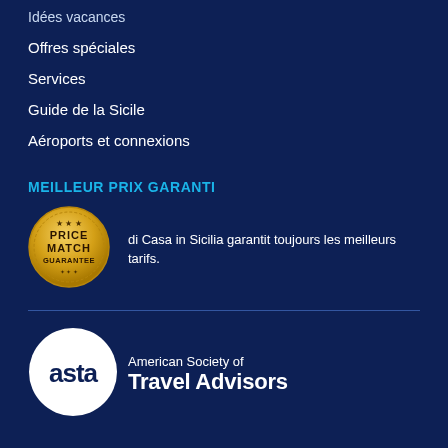Idées vacances
Offres spéciales
Services
Guide de la Sicile
Aéroports et connexions
MEILLEUR PRIX GARANTI
[Figure (logo): Gold circular Price Match Guarantee badge with stars]
di Casa in Sicilia garantit toujours les meilleurs tarifs.
[Figure (logo): ASTA American Society of Travel Advisors logo — white circle with 'asta' text, next to 'American Society of Travel Advisors' in white text]